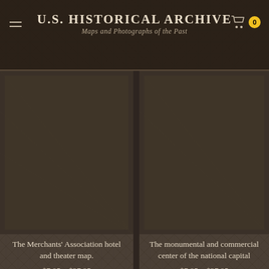U.S. HISTORICAL ARCHIVE — Maps and Photographs of the Past
[Figure (photo): Product thumbnail image for The Merchants' Association hotel and theater map (top-left, dark brownish placeholder)]
[Figure (photo): Product thumbnail image for The monumental and commercial center of the national capital (top-right, dark brownish placeholder)]
The Merchants' Association hotel and theater map.
$7.95 – $27.95
The monumental and commercial center of the national capital
$7.95 – $27.95
[Figure (photo): Product thumbnail image, bottom-left (partially visible, dark brownish)]
[Figure (photo): Product thumbnail image, bottom-right (partially visible, dark brownish)]